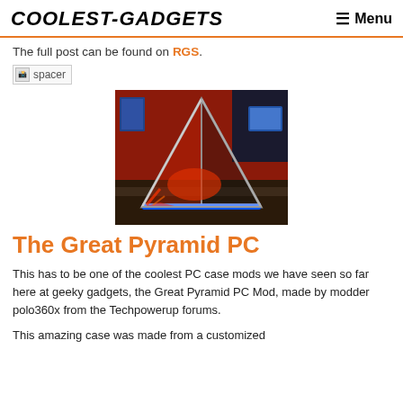COOLEST-GADGETS  ☰ Menu
The full post can be found on RGS.
[Figure (other): Broken image placeholder labeled 'spacer']
[Figure (photo): Pyramid-shaped PC case mod with red and blue LED lighting, sitting on a desk in a room with red walls]
The Great Pyramid PC
This has to be one of the coolest PC case mods we have seen so far here at geeky gadgets, the Great Pyramid PC Mod, made by modder polo360x from the Techpowerup forums.
This amazing case was made from a customized